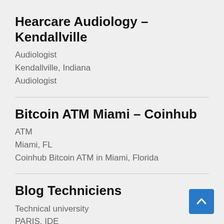Hearcare Audiology – Kendallville
Audiologist
Kendallville, Indiana
Audiologist
Bitcoin ATM Miami – Coinhub
ATM
Miami, FL
Coinhub Bitcoin ATM in Miami, Florida
Blog Techniciens
Technical university
PARIS, IDE